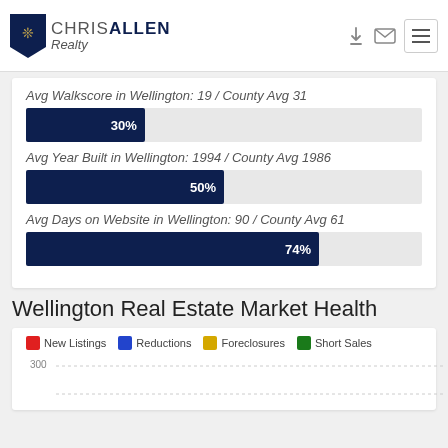[Figure (logo): Chris Allen Realty logo with shield icon]
Avg Walkscore in Wellington: 19 / County Avg 31
[Figure (bar-chart): 30%]
Avg Year Built in Wellington: 1994 / County Avg 1986
[Figure (bar-chart): 50%]
Avg Days on Website in Wellington: 90 / County Avg 61
[Figure (bar-chart): 74%]
Wellington Real Estate Market Health
[Figure (line-chart): Wellington Real Estate Market Health chart with legend showing New Listings (red), Reductions (blue), Foreclosures (gold), Short Sales (green). Y-axis shows 300.]